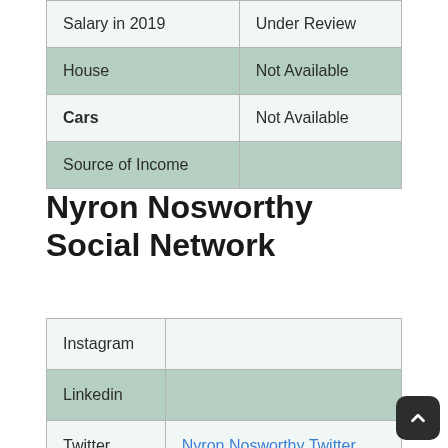| Salary in 2019 | Under Review |
| House | Not Available |
| Cars | Not Available |
| Source of Income |  |
Nyron Nosworthy Social Network
| Instagram |  |
| Linkedin |  |
| Twitter | Nyron Nosworthy Twitter |